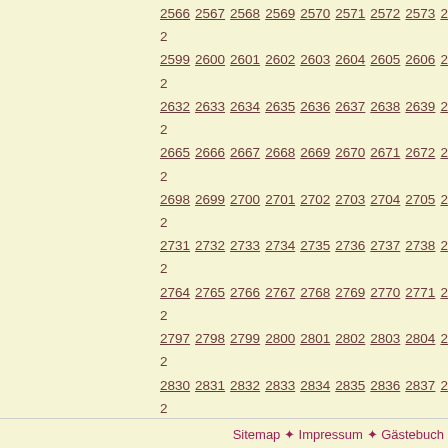2566 2567 2568 2569 2570 2571 2572 2573 2574 2... 2599 2600 2601 2602 2603 2604 2605 2606 2607 2... 2632 2633 2634 2635 2636 2637 2638 2639 2640 2... 2665 2666 2667 2668 2669 2670 2671 2672 2673 2... 2698 2699 2700 2701 2702 2703 2704 2705 2706 2... 2731 2732 2733 2734 2735 2736 2737 2738 2739 2... 2764 2765 2766 2767 2768 2769 2770 2771 2772 2... 2797 2798 2799 2800 2801 2802 2803 2804 2805 2... 2830 2831 2832 2833 2834 2835 2836 2837 2838 2... 2863 2864 2865 2866 2867 2868 2869 2870 2871 2... 2896 2897 2898 2899 2900 2901 2902 2903 2904 2... 2929 2930 2931 2932 2933 2934 2935 2936 2937 2... 2962 2963 2964 2965 2966 2967 2968 2969 2970 2... 2995 2996 2997 2998 2999 3000 3001 3002 3003 3... 3028 3029 3030 3031 3032 3033 3034 3035 3036 3... 3061 3062 3063 3064 3065 3066 3067 3068 3069 3... 3094 3095 3096 3097 3098 3099 3100 3101 3102 3... 3127 3128 3129 3130 3131 Weiter
Sitemap ✦ Impressum ✦ Gästebuch